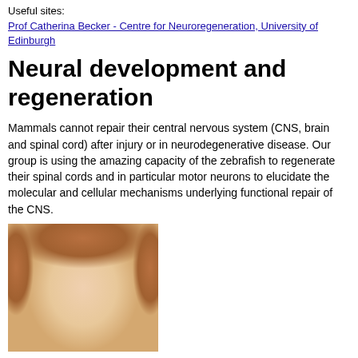Useful sites:
Prof Catherina Becker - Centre for Neuroregeneration, University of Edinburgh
Neural development and regeneration
Mammals cannot repair their central nervous system (CNS, brain and spinal cord) after injury or in neurodegenerative disease. Our group is using the amazing capacity of the zebrafish to regenerate their spinal cords and in particular motor neurons to elucidate the molecular and cellular mechanisms underlying functional repair of the CNS.
[Figure (photo): Portrait photo of Prof Catherina Becker, a woman with reddish-blonde hair, facing the camera]